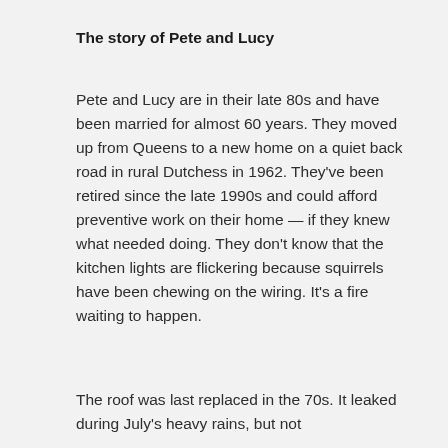The story of Pete and Lucy
Pete and Lucy are in their late 80s and have been married for almost 60 years. They moved up from Queens to a new home on a quiet back road in rural Dutchess in 1962. They've been retired since the late 1990s and could afford preventive work on their home — if they knew what needed doing. They don't know that the kitchen lights are flickering because squirrels have been chewing on the wiring. It's a fire waiting to happen.
The roof was last replaced in the 70s. It leaked during July's heavy rains, but not